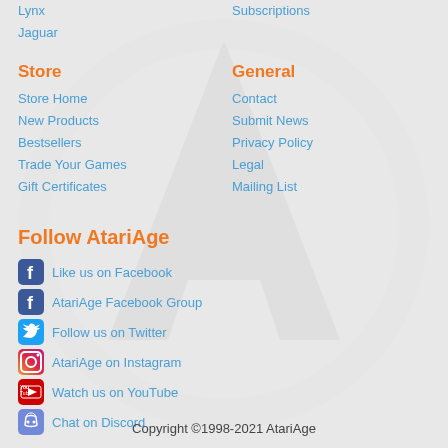Lynx
Jaguar
Subscriptions
Store
General
Store Home
New Products
Bestsellers
Trade Your Games
Gift Certificates
Contact
Submit News
Privacy Policy
Legal
Mailing List
Follow AtariAge
Like us on Facebook
AtariAge Facebook Group
Follow us on Twitter
AtariAge on Instagram
Watch us on YouTube
Chat on Discord
Copyright ©1998-2021 AtariAge